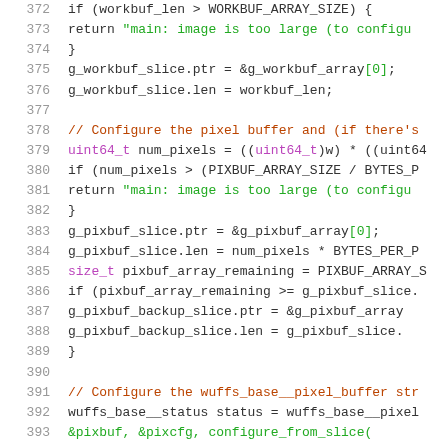Source code listing lines 372-393, C language code involving workbuf and pixbuf buffer configuration